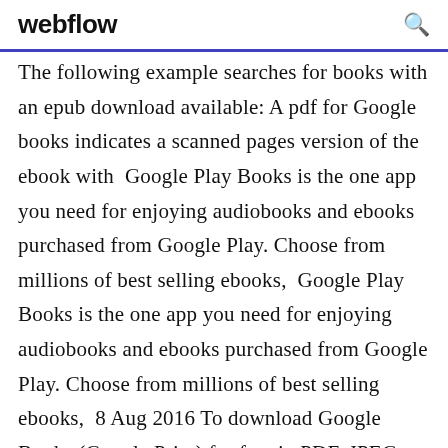webflow
The following example searches for books with an epub download available: A pdf for Google books indicates a scanned pages version of the ebook with  Google Play Books is the one app you need for enjoying audiobooks and ebooks purchased from Google Play. Choose from millions of best selling ebooks,  Google Play Books is the one app you need for enjoying audiobooks and ebooks purchased from Google Play. Choose from millions of best selling ebooks,  8 Aug 2016 To download Google Books (Google Print) for free in PDF, JPEG or PNG format by using 'Google Books Downloader' software. No preview books have not been scanned, their text is not searchable